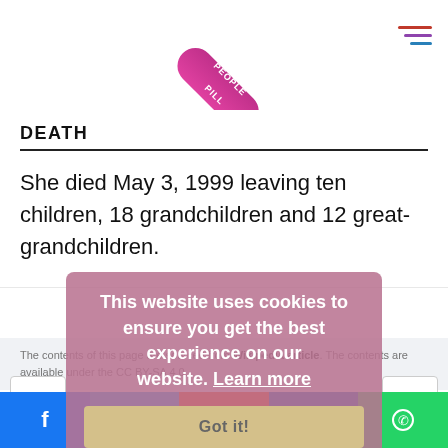[Figure (logo): Pill-shaped logo rotated, reading 'PEOPLE PILL' vertically, magenta/pink gradient]
DEATH
She died May 3, 1999 leaving ten children, 18 grandchildren and 12 great-grandchildren.
The contents of this page are sourced from Wikipedia article. The contents are available under the CC BY-SA 4.0.
This website uses cookies to ensure you get the best experience on our website. Learn more
Facebook Twitter Reddit LinkedIn WhatsApp social share bar